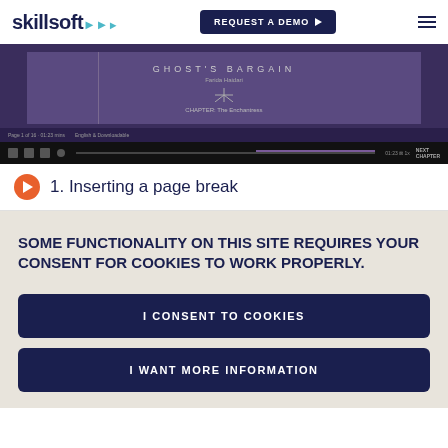skillsoft | REQUEST A DEMO
[Figure (screenshot): Screenshot of an e-reader or digital book interface showing 'GHOST'S BARGAIN' title with chapter navigation, overlaid on a Windows taskbar. Below is a video player control bar.]
1. Inserting a page break
SOME FUNCTIONALITY ON THIS SITE REQUIRES YOUR CONSENT FOR COOKIES TO WORK PROPERLY.
I CONSENT TO COOKIES
I WANT MORE INFORMATION